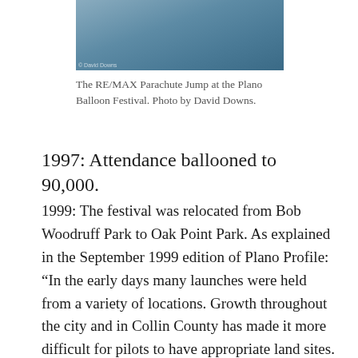[Figure (photo): Aerial or sky photo, likely showing a parachute jump at the Plano Balloon Festival, bluish-gray sky tones, photo by David Downs]
The RE/MAX Parachute Jump at the Plano Balloon Festival. Photo by David Downs.
1997: Attendance ballooned to 90,000.
1999: The festival was relocated from Bob Woodruff Park to Oak Point Park. As explained in the September 1999 edition of Plano Profile: “In the early days many launches were held from a variety of locations. Growth throughout the city and in Collin County has made it more difficult for pilots to have appropriate land sites. The move this year to Oak Point Park promises to relieve some of the crowding.”